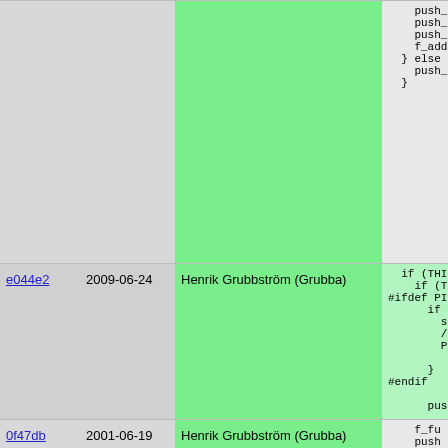| hash | date | author | code |
| --- | --- | --- | --- |
| (truncated) | 2001-06-19 | Henrik Grubbström (Grubba) | push_...
push_...
push_t...
f_add...
} else {
  push_t
} |
| e044e2 | 2009-06-24 | Henrik Grubbström (Grubba) | if (THIS
  if (TH
#ifdef PIKE_
    if (
      st
      /*
      P:
    }
#endif

    push |
| 0f47db | 2001-06-19 | Henrik Grubbström (Grubba) | f_fu
push
f_ad
} else |
| e044e2 | 2009-06-24 | Henrik Grubbström (Grubba) | free
THIS
THIS
THIS |
| 0f47db | 2001-06-19 | Henrik Grubbström (Grubba) | push |